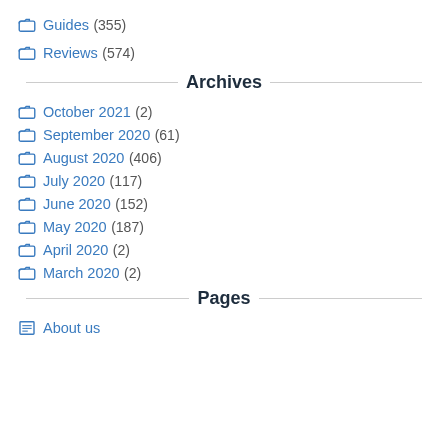Guides (355)
Reviews (574)
Archives
October 2021 (2)
September 2020 (61)
August 2020 (406)
July 2020 (117)
June 2020 (152)
May 2020 (187)
April 2020 (2)
March 2020 (2)
Pages
About us